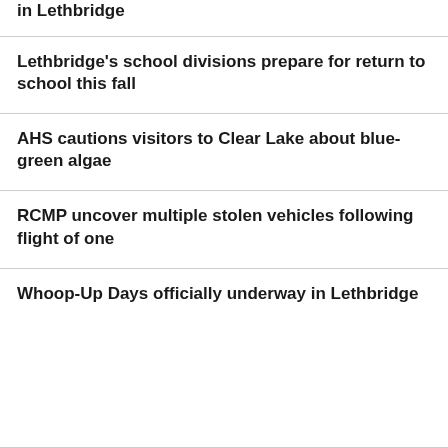in Lethbridge
Lethbridge's school divisions prepare for return to school this fall
AHS cautions visitors to Clear Lake about blue-green algae
RCMP uncover multiple stolen vehicles following flight of one
Whoop-Up Days officially underway in Lethbridge